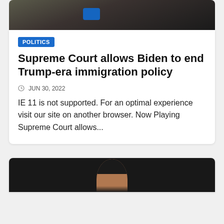[Figure (photo): Top portion of a news article card showing a cropped photo with a blue icon/button overlay]
POLITICS
Supreme Court allows Biden to end Trump-era immigration policy
JUN 30, 2022
IE 11 is not supported. For an optimal experience visit our site on another browser. Now Playing Supreme Court allows...
[Figure (photo): Bottom portion showing the top of a person's head/face in a dark background, beginning of another news card]